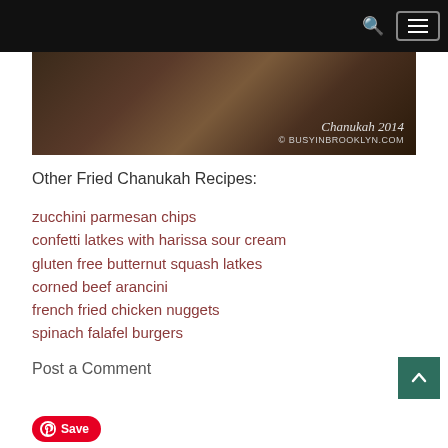Navigation bar with search and menu icons
[Figure (photo): Dark warm-toned food photograph with text overlay reading 'Chanukah 2014 © BUSYINBROOKLYN.COM']
Other Fried Chanukah Recipes:
zucchini parmesan chips
confetti latkes with harissa sour cream
gluten free butternut squash latkes
corned beef arancini
french fried chicken nuggets
spinach falafel burgers
Post a Comment